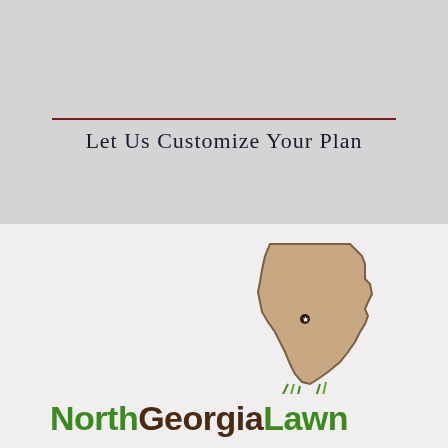Let Us Customize Your Plan
Request Your FREE Quote
[Figure (logo): North Georgia Lawn logo with map of Georgia state outline in tan/beige color with a star marker, and colorful text 'NorthGeorgiaLawn' below]